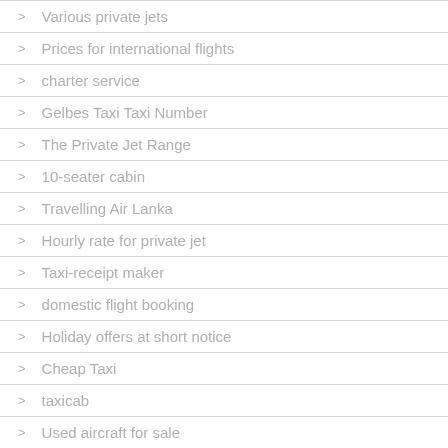Various private jets
Prices for international flights
charter service
Gelbes Taxi Taxi Number
The Private Jet Range
10-seater cabin
Travelling Air Lanka
Hourly rate for private jet
Taxi-receipt maker
domestic flight booking
Holiday offers at short notice
Cheap Taxi
taxicab
Used aircraft for sale
Airfield Reservation by Jet Airways